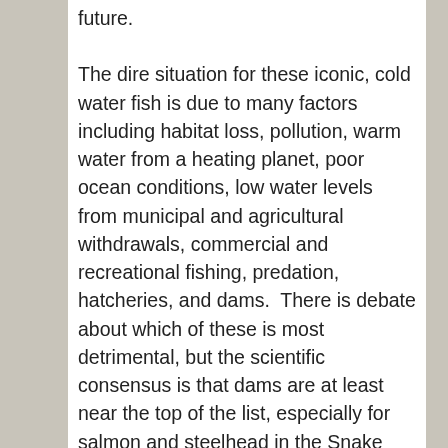future.
The dire situation for these iconic, cold water fish is due to many factors including habitat loss, pollution, warm water from a heating planet, poor ocean conditions, low water levels from municipal and agricultural withdrawals, commercial and recreational fishing, predation, hatcheries, and dams.  There is debate about which of these is most detrimental, but the scientific consensus is that dams are at least near the top of the list, especially for salmon and steelhead in the Snake River watershed.
Over decades, sportsmen, tribes, conservation groups, and others have sued the US government to improve operation of the lower Snake River dams and have repeatedly won in federal court